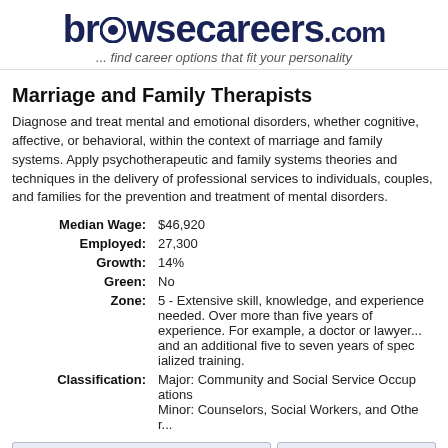browsecareers.com ... find career options that fit your personality
Marriage and Family Therapists
Diagnose and treat mental and emotional disorders, whether cogn... marriage and family systems. Apply psychotherapeutic and family... professional services to individuals, couples, and families for the p... mental disorders.
| Label | Value |
| --- | --- |
| Median Wage: | $46,920 |
| Employed: | 27,300 |
| Growth: | 14% |
| Green: | No |
| Zone: | 5 - Extensive skill, knowledge, and experienc... more than five years of experience. For exa... and an additional five to seven years of spec... |
| Classification: | Major: Community and Social Service Occup...
Minor: Counselors, Social Workers, and Othe... |
|  | personality test | selected career | current job |
| --- | --- | --- | --- |
| Values |
| --- |